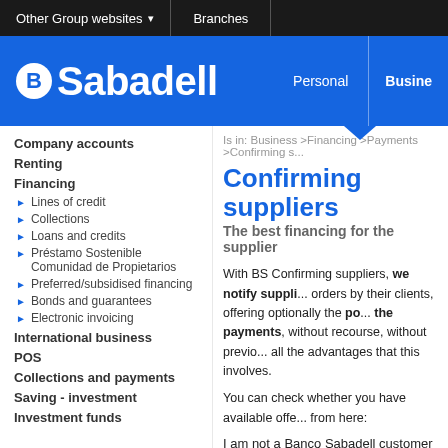Other Group websites ▾  |  Branches
[Figure (logo): Banco Sabadell logo on blue header with Personal and Business navigation]
Is in: Business > Financing > Payments > Confirming s...
Confirming suppliers
The best financing for the supplier
With BS Confirming suppliers, we notify suppliers of purchase orders by their clients, offering optionally the possibility of advancing the payments, without recourse, without previous notice, and all the advantages that this involves.
You can check whether you have available offers from here:
I am not a Banco Sabadell customer
I want to review my offers:
Review access (with bill details)
I want to review and advance my offers:
Register with Confirming (with bill details)
Company accounts
Renting
Financing
Lines of credit
Collections
Loans and credits
Préstamo Sostenible Comunidad de Propietarios
Preferred/subsidised financing
Bonds and guarantees
Electronic invoicing
International business
POS
Collections and payments
Saving - investment
Investment funds